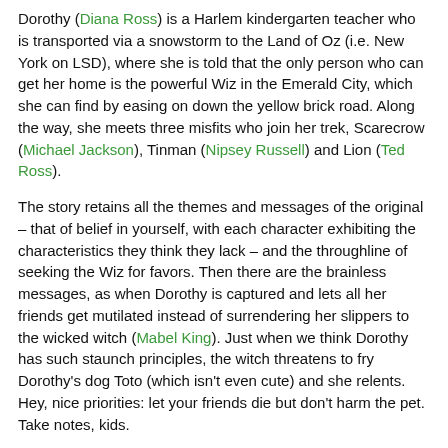Dorothy (Diana Ross) is a Harlem kindergarten teacher who is transported via a snowstorm to the Land of Oz (i.e. New York on LSD), where she is told that the only person who can get her home is the powerful Wiz in the Emerald City, which she can find by easing on down the yellow brick road. Along the way, she meets three misfits who join her trek, Scarecrow (Michael Jackson), Tinman (Nipsey Russell) and Lion (Ted Ross).
The story retains all the themes and messages of the original – that of belief in yourself, with each character exhibiting the characteristics they think they lack – and the throughline of seeking the Wiz for favors. Then there are the brainless messages, as when Dorothy is captured and lets all her friends get mutilated instead of surrendering her slippers to the wicked witch (Mabel King). Just when we think Dorothy has such staunch principles, the witch threatens to fry Dorothy's dog Toto (which isn't even cute) and she relents. Hey, nice priorities: let your friends die but don't harm the pet. Take notes, kids.
Joel Schumacher (CAR WASH) screenplays THE WIZ for director Sidney Lumet (DOG DAY AFTERNOON). Really? Two whiteys in